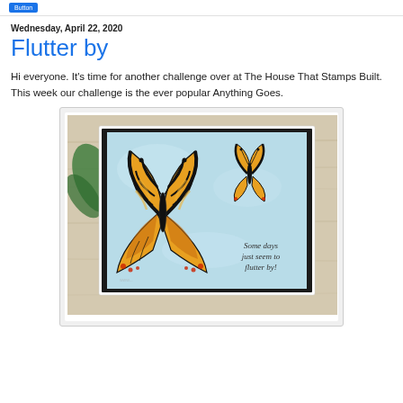Wednesday, April 22, 2020
Flutter by
Hi everyone. It's time for another challenge over at The House That Stamps Built. This week our challenge is the ever popular Anything Goes.
[Figure (photo): A handmade greeting card featuring two swallowtail butterflies (yellow, black, and red) on a light blue background with the sentiment text 'Some days just seem to flutter by!' in the lower right. The card is displayed on a wooden surface with greenery in the background.]